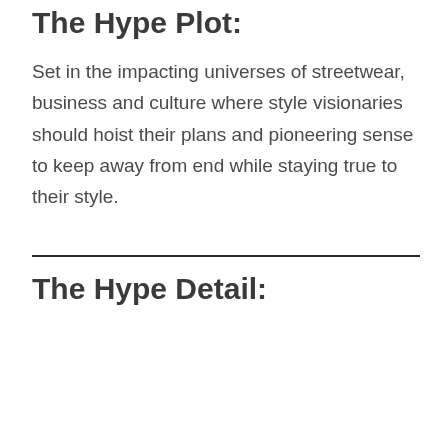The Hype Plot:
Set in the impacting universes of streetwear, business and culture where style visionaries should hoist their plans and pioneering sense to keep away from end while staying true to their style.
The Hype Detail:
[Figure (other): Advertisement placeholder box with gray bar at bottom]